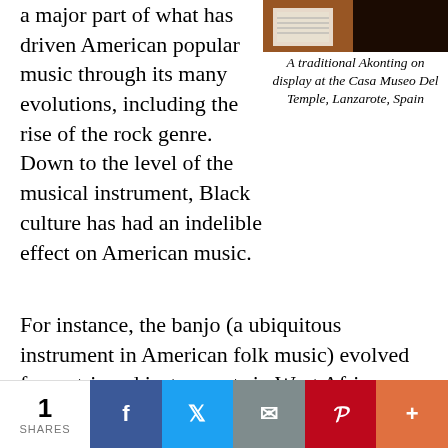a major part of what has driven American popular music through its many evolutions, including the rise of the rock genre. Down to the level of the musical instrument, Black culture has had an indelible effect on American music.
[Figure (photo): A traditional Akonting on display at the Casa Museo Del Temple, Lanzarote, Spain - photo showing the instrument and surroundings]
A traditional Akonting on display at the Casa Museo Del Temple, Lanzarote, Spain
For instance, the banjo (a ubiquitous instrument in American folk music) evolved from stringed instruments in West Africa. Laemouahuma Daniel Jatta, a banjo scholar from Gambia, told NPR that he believes that the modern banjo specifically evolved from the traditional akonting - a three stringed instrument.² Over time, the instrument was adapted to
1 SHARES | Facebook | Twitter | Email | Pinterest | More